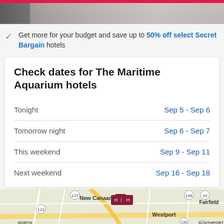[Figure (photo): Top image banner with pink/red bar and hotel room background]
Get more for your budget and save up to 50% off select Secret Bargain hotels
Check dates for The Maritime Aquarium hotels
| Period | Dates |
| --- | --- |
| Tonight | Sep 5 - Sep 6 |
| Tomorrow night | Sep 6 - Sep 7 |
| This weekend | Sep 9 - Sep 11 |
| Next weekend | Sep 16 - Sep 18 |
[Figure (map): Street map showing area near The Maritime Aquarium, including New Canaan, Westport, Fairfield, North Stamford, Southport locations with hotel markers]